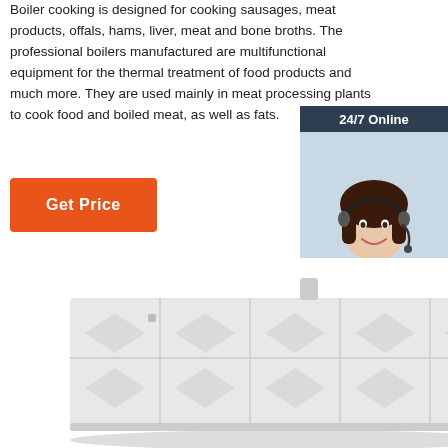Boiler cooking is designed for cooking sausages, meat products, offals, hams, liver, meat and bone broths. The professional boilers manufactured are multifunctional equipment for the thermal treatment of food products and much more. They are used mainly in meat processing plants to cook food and boiled meat, as well as fats.
[Figure (other): Orange 'Get Price' button]
[Figure (infographic): 24/7 online chat widget with a woman wearing a headset and text 'Click here for free chat!' and an orange QUOTATION button]
[Figure (photo): Industrial boiler cooking machine - a large rectangular steel unit with vents and piping]